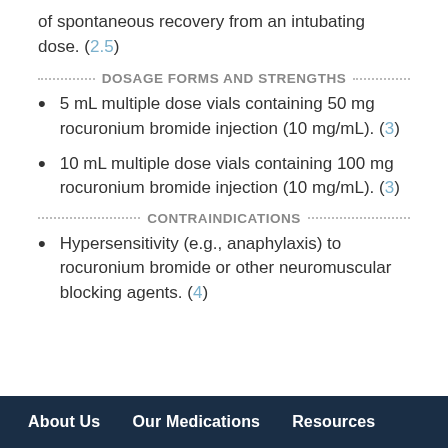of spontaneous recovery from an intubating dose. (2.5)
DOSAGE FORMS AND STRENGTHS
5 mL multiple dose vials containing 50 mg rocuronium bromide injection (10 mg/mL). (3)
10 mL multiple dose vials containing 100 mg rocuronium bromide injection (10 mg/mL). (3)
CONTRAINDICATIONS
Hypersensitivity (e.g., anaphylaxis) to rocuronium bromide or other neuromuscular blocking agents. (4)
About Us   Our Medications   Resources